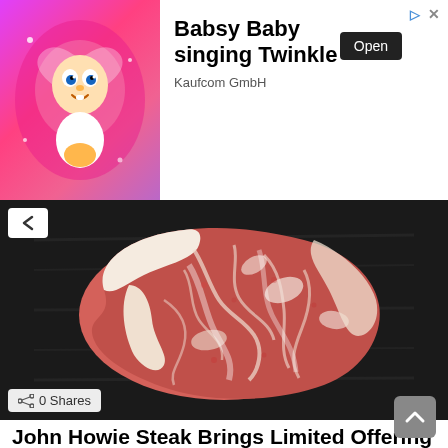[Figure (photo): Advertisement banner: animated baby (Babsy Baby singing Twinkle) with pink sparkle background, Open button, Kaufcom GmbH branding]
[Figure (photo): Highly marbled raw Wagyu ribeye steak on a dark wooden board]
0 Shares
John Howie Steak Brings Limited Offering of Takamori 'Drunken Wagyu' to the Pacific Northwest
by Charles